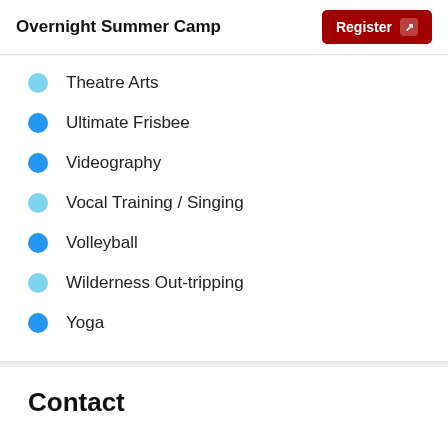Overnight Summer Camp
Theatre Arts
Ultimate Frisbee
Videography
Vocal Training / Singing
Volleyball
Wilderness Out-tripping
Yoga
Contact